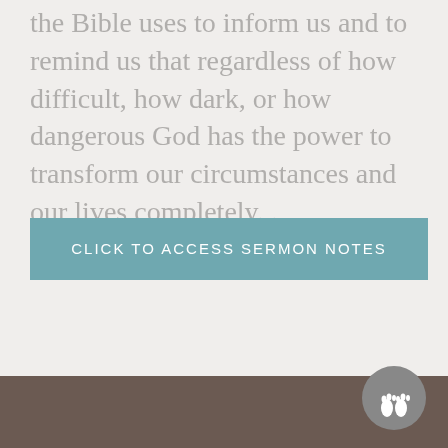the Bible uses to inform us and to remind us that regardless of how difficult, how dark, or how dangerous God has the power to transform our circumstances and our lives completely. .
CLICK TO ACCESS SERMON NOTES